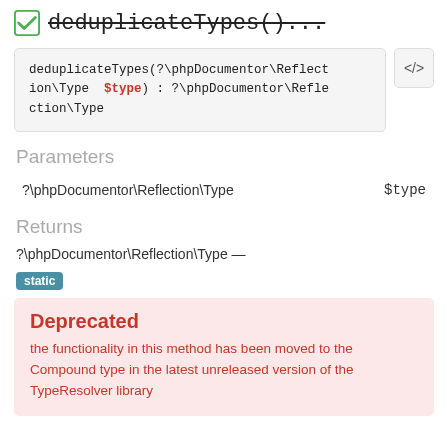deduplicateTypes()...
deduplicateTypes(?\phpDocumentor\Reflection\Type $type) : ?\phpDocumentor\Reflection\Type
Parameters
|  |  |
| --- | --- |
| ?\phpDocumentor\Reflection\Type | $type |
Returns
?\phpDocumentor\Reflection\Type —
static
Deprecated
the functionality in this method has been moved to the Compound type in the latest unreleased version of the TypeResolver library